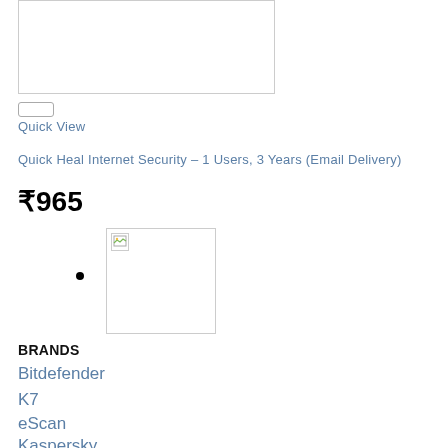[Figure (photo): Product image box, empty white rectangle with border]
[Figure (other): Quick view button, small rounded rectangle]
Quick View
Quick Heal Internet Security – 1 Users, 3 Years (Email Delivery)
₹965
[Figure (photo): Product image thumbnail with broken image icon]
•
BRANDS
Bitdefender
K7
eScan
Kaspersky